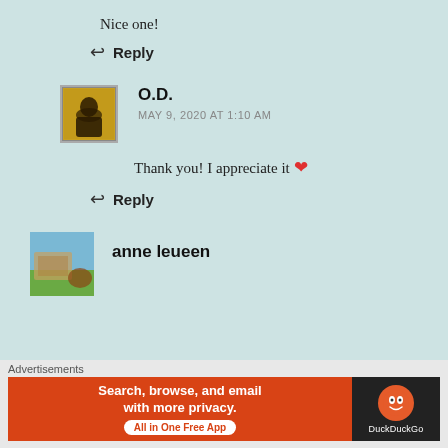Nice one!
↩ Reply
O.D.
MAY 9, 2020 AT 1:10 AM
Thank you! I appreciate it ❤
↩ Reply
anne leueen
Advertisements
[Figure (infographic): DuckDuckGo advertisement banner: 'Search, browse, and email with more privacy. All in One Free App' with DuckDuckGo logo on dark background.]